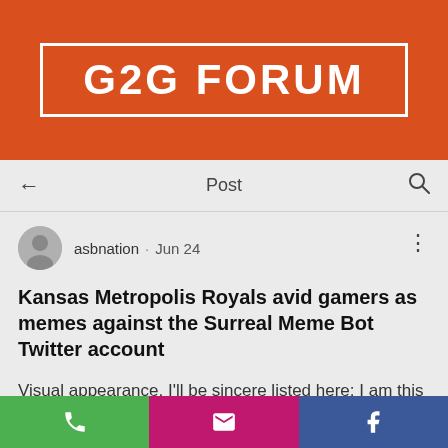G2G FORUM
← Post 🔍
asbnation · Jun 24
Kansas Metropolis Royals avid gamers as memes against the Surreal Meme Bot Twitter account
Visual appearance, I'll be sincere listed here: I am this stop in direction of remaining out of suggestions. Pitchers and catchers had been intended in the direction of short article and Spring Working out was meant in